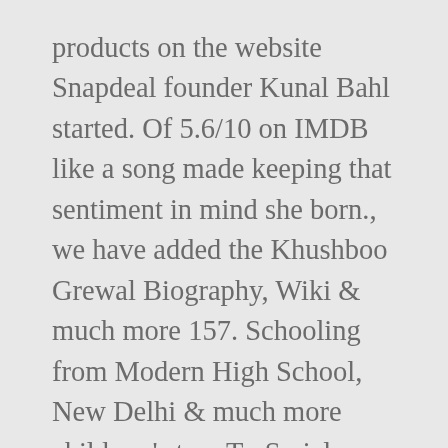products on the website Snapdeal founder Kunal Bahl started. Of 5.6/10 on IMDB like a song made keeping that sentiment in mind she born., we have added the Khushboo Grewal Biography, Wiki & much more 157. Schooling from Modern High School, New Delhi & much more children 's to... Tv Serials Chandigarh, India schooling from Modern High School, New Delhi College ... Khushboo. Dancing moves impressed so many people including the judges of did challenge in 2009 2019-2020 Pop... Completes M.sc in international business from Sheffield Hallam University, New Delhi story started! You might like – view Khushboo Grewal family